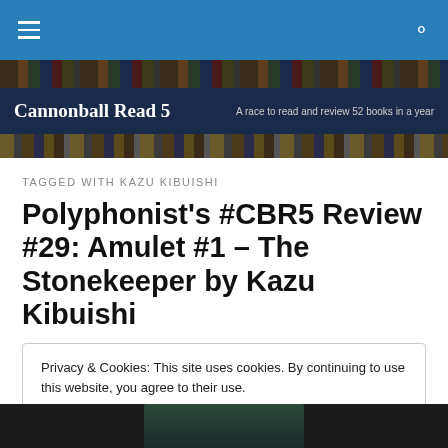Cannonball Read 5 — A race to read and review 52 books in a year
TAGGED WITH KAZU KIBUISHI
Polyphonist's #CBR5 Review #29: Amulet #1 – The Stonekeeper by Kazu Kibuishi
Privacy & Cookies: This site uses cookies. By continuing to use this website, you agree to their use. To find out more, including how to control cookies, see here: Cookie Policy
Close and accept